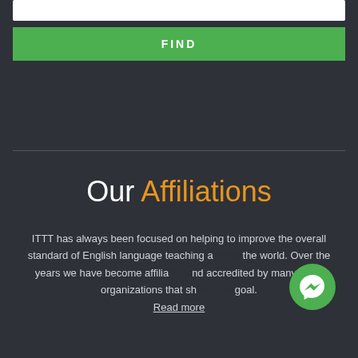[Figure (other): White input bar at top of page]
FIND
Our Affiliations
ITTT has always been focused on helping to improve the overall standard of English language teaching around the world. Over the years we have become affiliated and accredited by many other organizations that share that goal. Read more
[Figure (logo): Green Facebook Messenger icon circle in bottom right area]